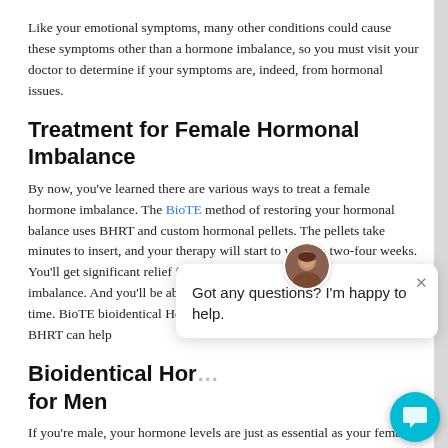Like your emotional symptoms, many other conditions could cause these symptoms other than a hormone imbalance, so you must visit your doctor to determine if your symptoms are, indeed, from hormonal issues.
Treatment for Female Hormonal Imbalance
By now, you've learned there are various ways to treat a female hormone imbalance. The BioTE method of restoring your hormonal balance uses BHRT and custom hormonal pellets. The pellets take minutes to insert, and your therapy will start to work in two-four weeks. You'll get significant relief from the symptoms of a female hormone imbalance. And you'll be able to resume your regular activities in no time. BioTE bioidentical Hormone Pellets last three to six months. BHRT can help
Bioidentical Hor... for Men
If you're male, your hormone levels are just as essential as your female counterparts. And Doctors have been giving Bioidentical Hormone Replacement to men for decades to alleviate aging symptoms. If the ravages of time are taking their toll, you may benefit from bioidentical hormone replacement therapy (BH...
However, hormone imbalances aren't always because of aging. If